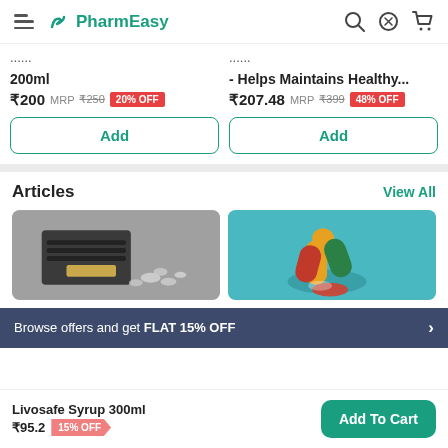PharmEasy
200ml
₹200 MRP ₹250 20% OFF
- Helps Maintains Healthy...
₹207.48 MRP ₹399 48% OFF
Articles
View All
[Figure (photo): Wallet with cash and pills scattered on a surface]
[Figure (photo): Colorful capsules and pills stacked on a teal background]
Browse offers and get FLAT 15% OFF
Livosafe Syrup 300ml
₹95.2 15% OFF